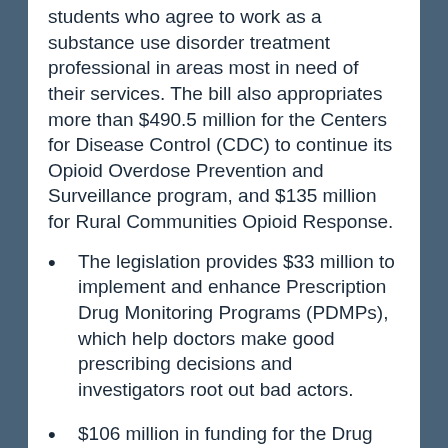students who agree to work as a substance use disorder treatment professional in areas most in need of their services. The bill also appropriates more than $490.5 million for the Centers for Disease Control (CDC) to continue its Opioid Overdose Prevention and Surveillance program, and $135 million for Rural Communities Opioid Response.
The legislation provides $33 million to implement and enhance Prescription Drug Monitoring Programs (PDMPs), which help doctors make good prescribing decisions and investigators root out bad actors.
$106 million in funding for the Drug Free Communities Program, which provides funding to community-based groups seeking to prevent youth substance abuse